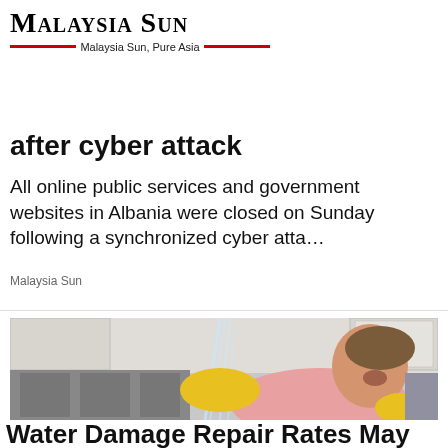[Figure (logo): Malaysia Sun logo with tagline 'Malaysia Sun, Pure Asia' and red decorative lines]
after cyber attack
All online public services and government websites in Albania were closed on Sunday following a synchronized cyber atta…
Malaysia Sun
[Figure (photo): Woman in yellow rubber gloves looking up in panic as water sprays from a broken pipe in a kitchen]
Water Damage Repair Rates May Come As A